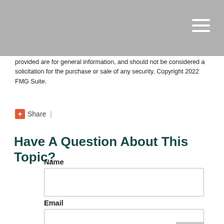provided are for general information, and should not be considered a solicitation for the purchase or sale of any security. Copyright 2022 FMG Suite.
Share |
Have A Question About This Topic?
Name
Email